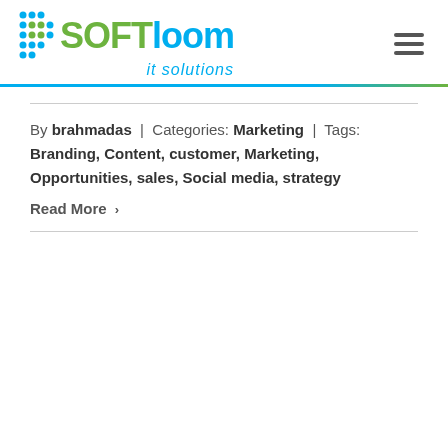[Figure (logo): SoftLoom IT Solutions logo with dot grid pattern, SOFT in green, LOOM in blue, 'it solutions' in blue italic below]
By brahmadas | Categories: Marketing | Tags: Branding, Content, customer, Marketing, Opportunities, sales, Social media, strategy
Read More >